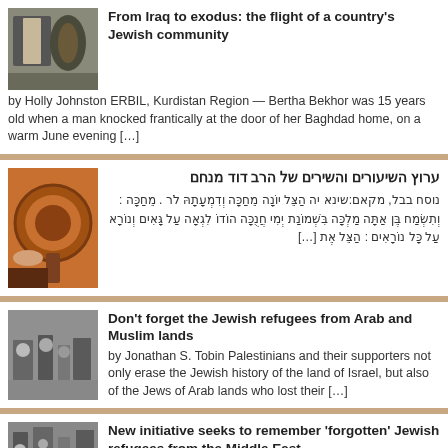[Figure (photo): Photo of people with a Torah scroll]
From Iraq to exodus: the flight of a country's Jewish community
by Holly Johnston ERBIL, Kurdistan Region — Bertha Bekhor was 15 years old when a man knocked frantically at the door of her Baghdad home, on a warm June evening […]
[Figure (photo): Photo of a traditional oud instrument]
ערוץ השיעורים והשירים של הרב דוד מנחם
נוסח בבל, מקאם:שינא יה הַצֵּל יוֹנָה מֵחַכָּה וְדִמְעָתָהּ לֹר . מֵחַכָּה : וְתִשְׂמַח בֶּן אַתָּה מַלְכָּה בִּשְׁמוֹנַת יְמִי חֲנֻכָּה הוֹדוֹ לִגְאָה עַל גָּאִים וְנוֹרָא עַל כָּל נוֹרָאִים : הַצֵּל אֶת […]
[Figure (photo): Black and white photo of people, historical image]
Don't forget the Jewish refugees from Arab and Muslim lands
by Jonathan S. Tobin Palestinians and their supporters not only erase the Jewish history of the land of Israel, but also of the Jews of Arab lands who lost their […]
[Figure (photo): Black and white photo of Jewish refugees]
New initiative seeks to remember 'forgotten' Jewish refugees from the Middle East